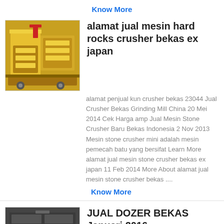Know More
[Figure (photo): Yellow industrial stone crusher machine]
alamat jual mesin hard rocks crusher bekas ex japan
alamat penjual kun crusher bekas 23044 Jual Crusher Bekas Grinding Mill China 20 Mei 2014 Cek Harga amp Jual Mesin Stone Crusher Baru Bekas Indonesia 2 Nov 2013 Mesin stone crusher mini adalah mesin pemecah batu yang bersifat Learn More alamat jual mesin stone crusher bekas ex japan 11 Feb 2014 More About alamat jual mesin stone crusher bekas ....
Know More
[Figure (photo): Dark industrial machinery/dozer equipment]
JUAL DOZER BEKAS Januari 2016
28-01-2019 0183 32 From large primary